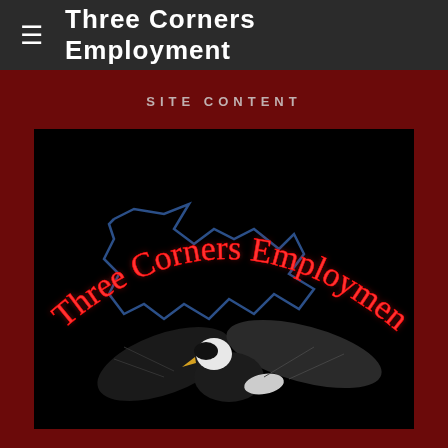≡  Three Corners Employment
SITE CONTENT
[Figure (logo): Three Corners Employment logo: neon red cursive text 'Three Corners Employment' arched over a bald eagle in flight, with blue neon outline of state borders on a black background.]